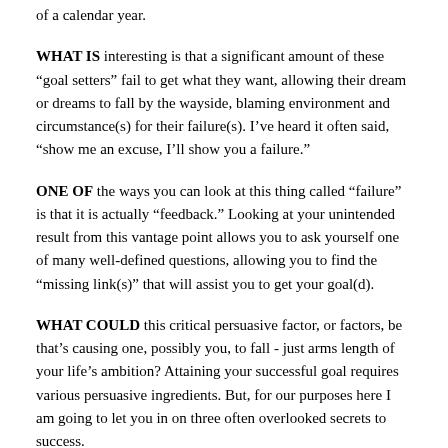of a calendar year.
WHAT IS interesting is that a significant amount of these “goal setters” fail to get what they want, allowing their dream or dreams to fall by the wayside, blaming environment and circumstance(s) for their failure(s). I’ve heard it often said, “show me an excuse, I’ll show you a failure.”
ONE OF the ways you can look at this thing called “failure” is that it is actually “feedback.” Looking at your unintended result from this vantage point allows you to ask yourself one of many well-defined questions, allowing you to find the “missing link(s)” that will assist you to get your goal(d).
WHAT COULD this critical persuasive factor, or factors, be that’s causing one, possibly you, to fall - just arms length of your life’s ambition? Attaining your successful goal requires various persuasive ingredients. But, for our purposes here I am going to let you in on three often overlooked secrets to success.
GOALS MUST BE stated in the positive and be specific. This makes perfect sense because our minds are direction-oriented. For example, let”s say your goal is simply to buy a car. Constantly saying, “I don’t want a truck, I don’t want a van, etc.” is counter-productive, a waste of your personal persuasive